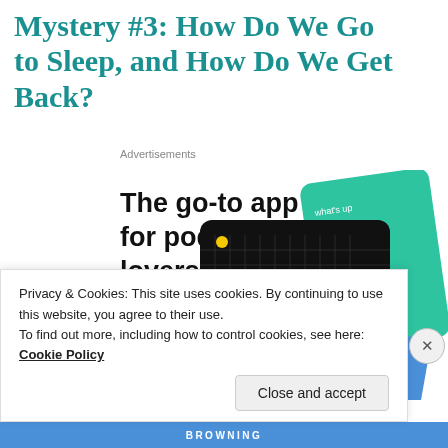Mystery #3: How Do We Go to Sleep, and How Do We Get Back?
Advertisements
[Figure (screenshot): Advertisement for a podcast app showing 'The go-to app for podcast lovers.' with a Download now link and podcast app card graphics including 99% Invisible.]
Privacy & Cookies: This site uses cookies. By continuing to use this website, you agree to their use. To find out more, including how to control cookies, see here: Cookie Policy
Close and accept